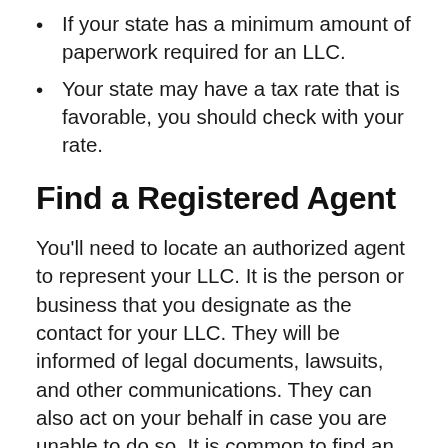If your state has a minimum amount of paperwork required for an LLC.
Your state may have a tax rate that is favorable, you should check with your rate.
Find a Registered Agent
You'll need to locate an authorized agent to represent your LLC. It is the person or business that you designate as the contact for your LLC. They will be informed of legal documents, lawsuits, and other communications. They can also act on your behalf in case you are unable to do so. It is common to find an agent registered with the Secretary of State office in your state.